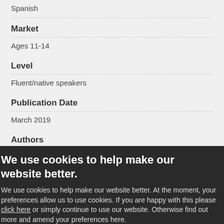Spanish
Market
Ages 11-14
Level
Fluent/native speakers
Publication Date
March 2019
Authors
María Menéndez-Ponte
We use cookies to help make our website better.
We use cookies to help make our website better. At the moment, your preferences allow us to use cookies. If you are happy with this please click here or simply continue to use our website. Otherwise find out more and amend your preferences here.